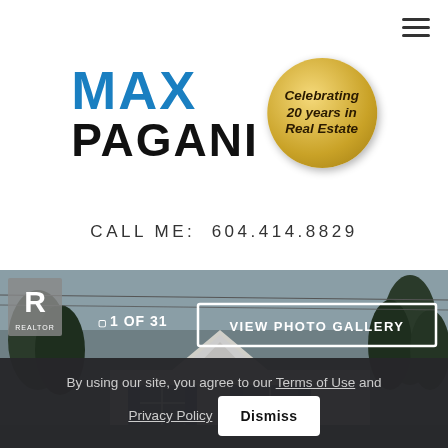[Figure (logo): Max Pagani real estate logo with blue bold text and gold circular badge reading 'Celebrating 20 years in Real Estate']
CALL ME: 604.414.8829
[Figure (photo): Real estate listing photo showing a house exterior with '1 OF 31' counter and 'VIEW PHOTO GALLERY' button, with Realtor logo badge]
By using our site, you agree to our Terms of Use and Privacy Policy  Dismiss